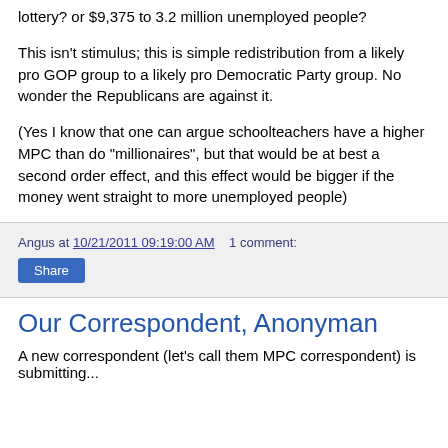lottery? or $9,375 to 3.2 million unemployed people?
This isn't stimulus; this is simple redistribution from a likely pro GOP group to a likely pro Democratic Party group. No wonder the Republicans are against it.
(Yes I know that one can argue schoolteachers have a higher MPC than do "millionaires", but that would be at best a second order effect, and this effect would be bigger if the money went straight to more unemployed people)
Angus at 10/21/2011 09:19:00 AM   1 comment:
Our Correspondent, Anonyman
A new correspondent (let's call them MPC correspondent) is submitting...